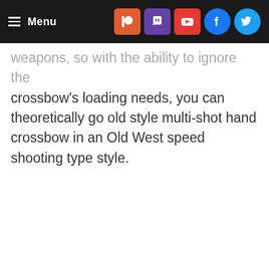Menu
weapons, so with the ability to ignore the crossbow's loading needs, you can theoretically go old style multi-shot hand crossbow in an Old West speed shooting type style.